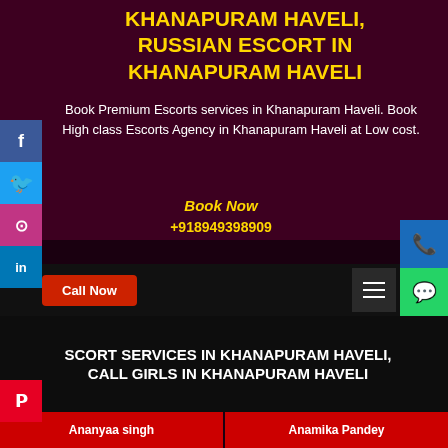KHANAPURAM HAVELI, RUSSIAN ESCORT IN KHANAPURAM HAVELI
Book Premium Escorts services in Khanapuram Haveli. Book High class Escorts Agency in Khanapuram Haveli at Low cost.
Book Now
+918949398909
Call Now
ESCORT SERVICES IN KHANAPURAM HAVELI, CALL GIRLS IN KHANAPURAM HAVELI
Ananyaa singh
Anamika Pandey